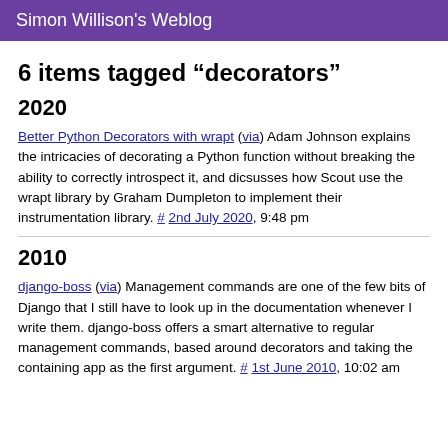Simon Willison's Weblog
6 items tagged “decorators”
2020
Better Python Decorators with wrapt (via) Adam Johnson explains the intricacies of decorating a Python function without breaking the ability to correctly introspect it, and dicsusses how Scout use the wrapt library by Graham Dumpleton to implement their instrumentation library. # 2nd July 2020, 9:48 pm
2010
django-boss (via) Management commands are one of the few bits of Django that I still have to look up in the documentation whenever I write them. django-boss offers a smart alternative to regular management commands, based around decorators and taking the containing app as the first argument. # 1st June 2010, 10:02 am